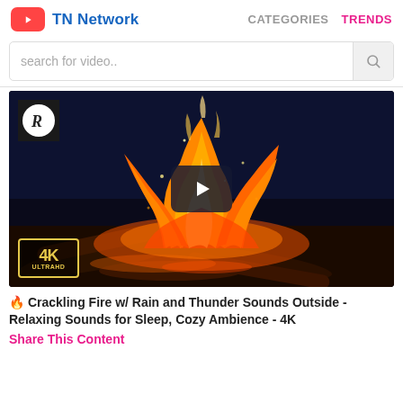TN Network  CATEGORIES  TRENDS
search for video..
[Figure (screenshot): Video thumbnail of a crackling campfire with flames and glowing logs against a dark background. Shows a channel badge with 'R' logo in top-left, a play button overlay in the center, and a '4K ULTRAHD' badge in the bottom-left corner.]
🔥 Crackling Fire w/ Rain and Thunder Sounds Outside - Relaxing Sounds for Sleep, Cozy Ambience - 4K
Share This Content